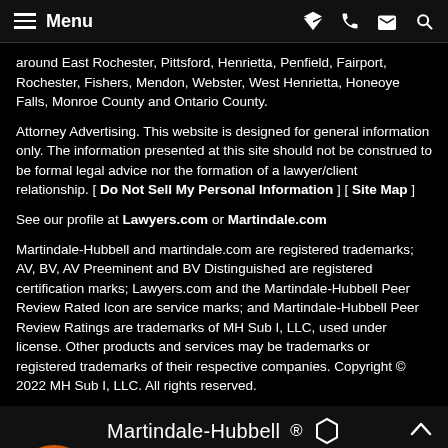Menu
around East Rochester, Pittsford, Henrietta, Penfield, Fairport, Rochester, Fishers, Mendon, Webster, West Henrietta, Honeoye Falls, Monroe County and Ontario County.
Attorney Advertising. This website is designed for general information only. The information presented at this site should not be construed to be formal legal advice nor the formation of a lawyer/client relationship. [ Do Not Sell My Personal Information ] [ Site Map ]
See our profile at Lawyers.com or Martindale.com
Martindale-Hubbell and martindale.com are registered trademarks; AV, BV, AV Preeminent and BV Distinguished are registered certification marks; Lawyers.com and the Martindale-Hubbell Peer Review Rated Icon are service marks; and Martindale-Hubbell Peer Review Ratings are trademarks of MH Sub I, LLC, used under license. Other products and services may be trademarks or registered trademarks of their respective companies. Copyright © 2022 MH Sub I, LLC. All rights reserved.
[Figure (logo): Martindale-Hubbell logo with hexagon icon]
[Figure (infographic): Live Chat - Start Now button bar with attorney avatar photo, orange background, white pill-shaped button]